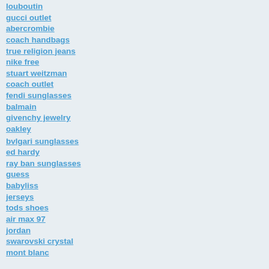louboutin
gucci outlet
abercrombie
coach handbags
true religion jeans
nike free
stuart weitzman
coach outlet
fendi sunglasses
balmain
givenchy jewelry
oakley
bvlgari sunglasses
ed hardy
ray ban sunglasses
guess
babyliss
jerseys
tods shoes
air max 97
jordan
swarovski crystal
mont blanc